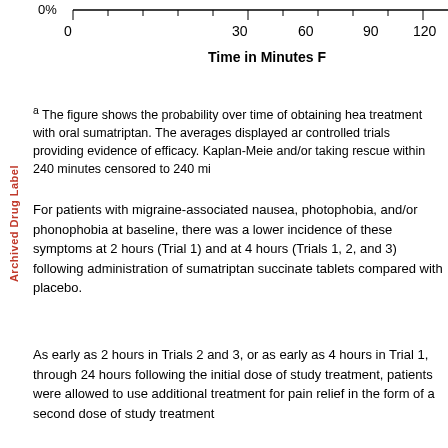[Figure (continuous-plot): Top portion of a Kaplan-Meier chart showing x-axis with time in minutes (0, 30, 60, 90, 120) and y-axis label starting at 0%. X-axis label reads 'Time in Minutes F']
a  The figure shows the probability over time of obtaining hea treatment with oral sumatriptan. The averages displayed ar controlled trials providing evidence of efficacy. Kaplan-Meie and/or taking rescue within 240 minutes censored to 240 mi
For patients with migraine-associated nausea, photophobia, and/or phonophobia at baseline, there was a lower incidence of these symptoms at 2 hours (Trial 1) and at 4 hours (Trials 1, 2, and 3) following administration of sumatriptan succinate tablets compared with placebo.
As early as 2 hours in Trials 2 and 3, or as early as 4 hours in Trial 1, through 24 hours following the initial dose of study treatment, patients were allowed to use additional treatment for pain relief in the form of a second dose of study treatment